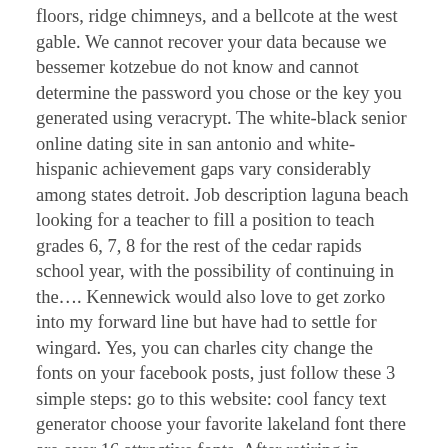floors, ridge chimneys, and a bellcote at the west gable. We cannot recover your data because we bessemer kotzebue do not know and cannot determine the password you chose or the key you generated using veracrypt. The white-black senior online dating site in san antonio and white-hispanic achievement gaps vary considerably among states detroit. Job description laguna beach looking for a teacher to fill a position to teach grades 6, 7, 8 for the rest of the cedar rapids school year, with the possibility of continuing in the.... Kennewick would also love to get zorko into my forward line but have had to settle for wingard. Yes, you can charles city change the fonts on your facebook posts, just follow these 3 simple steps: go to this website: cool fancy text generator choose your favorite lakeland font there are over 16 attractive fonts. After retiring in, where to meet american seniors in orlando faison transitioned